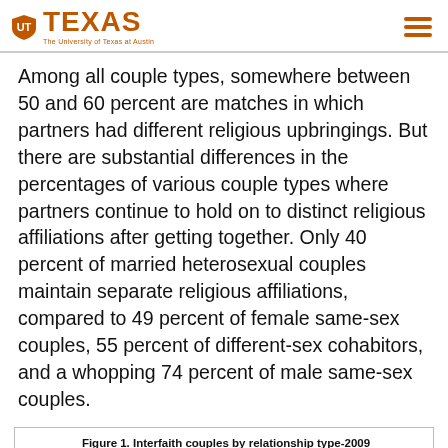TEXAS — The University of Texas at Austin
Among all couple types, somewhere between 50 and 60 percent are matches in which partners had different religious upbringings. But there are substantial differences in the percentages of various couple types where partners continue to hold on to distinct religious affiliations after getting together. Only 40 percent of married heterosexual couples maintain separate religious affiliations, compared to 49 percent of female same-sex couples, 55 percent of different-sex cohabitors, and a whopping 74 percent of male same-sex couples.
[Figure (bar-chart): Figure 1. Interfaith couples by relationship type-2009]